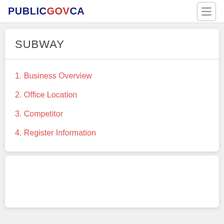PUBLICGOVCA
SUBWAY
1. Business Overview
2. Office Location
3. Competitor
4. Register Information